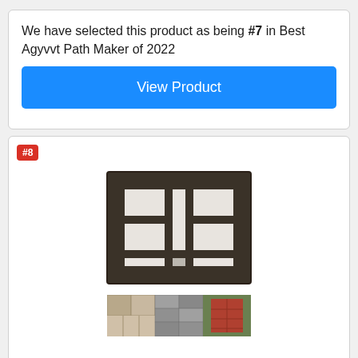We have selected this product as being #7 in Best Agyvvt Path Maker of 2022
View Product
#8
[Figure (photo): A dark rectangular pavement mold with multiple grid compartments, shown from an angle, alongside three smaller photos showing paving results: brick patterns on ground, red brick path through grass, and stone steps.]
Skelang Rectangular Pavement Mold,